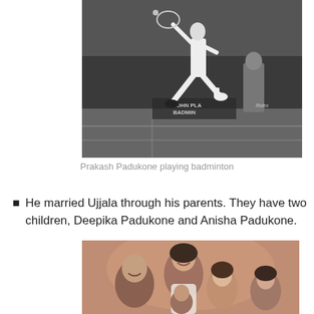[Figure (photo): Black and white photo of Prakash Padukone jumping mid-air playing badminton on a court with a crowd in the background. Signage reads 'JOHN PLA BADMIN' and 'Rolex'.]
Prakash Padukone playing badminton
He married Ujjala through his parents. They have two children, Deepika Padukone and Anisha Padukone.
[Figure (photo): Color family portrait photo showing Prakash Padukone with his family including his wife and daughters, smiling together against a warm reddish-brown background.]